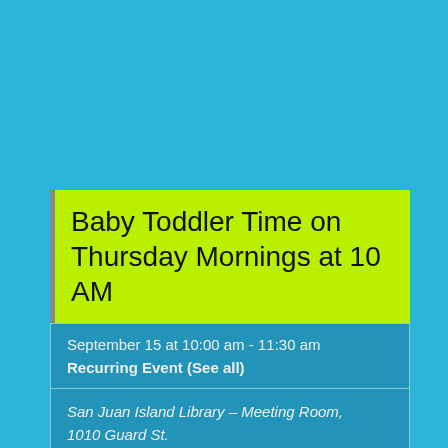Baby Toddler Time on Thursday Mornings at 10 AM
September 15 at 10:00 am - 11:30 am
Recurring Event (See all)
San Juan Island Library – Meeting Room, 1010 Guard St. Friday Harbor, WA 98250 United States